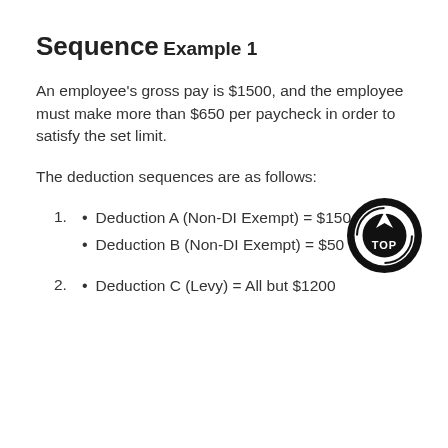Sequence
Example 1
An employee's gross pay is $1500, and the employee must make more than $650 per paycheck in order to satisfy the set limit.
The deduction sequences are as follows:
1. Deduction A (Non-DI Exempt) = $150
Deduction B (Non-DI Exempt) = $50
[Figure (logo): Black circular badge with a flame/arrow pointing up and text 'TOP' at the bottom]
2. Deduction C (Levy) = All but $1200